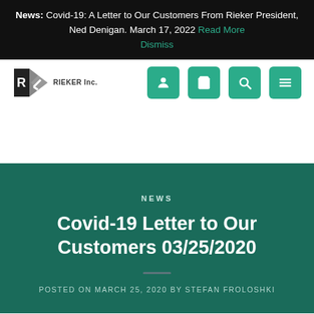News: Covid-19: A Letter to Our Customers From Rieker President, Ned Denigan. March 17, 2022 Read More Dismiss
[Figure (logo): Rieker Inc. logo with stylized R and checkmark, followed by four teal navigation icon buttons (person, cart, search, menu)]
NEWS
Covid-19 Letter to Our Customers 03/25/2020
POSTED ON MARCH 25, 2020 BY STEFAN FROLOSHKI